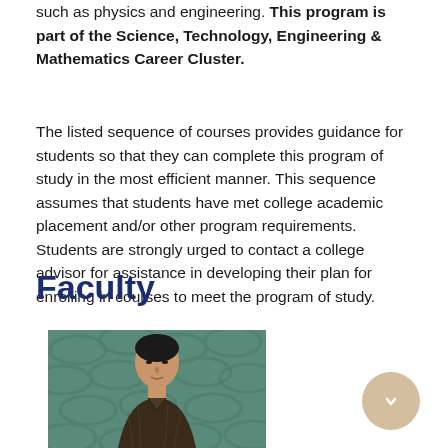such as physics and engineering. This program is part of the Science, Technology, Engineering & Mathematics Career Cluster.
The listed sequence of courses provides guidance for students so that they can complete this program of study in the most efficient manner. This sequence assumes that students have met college academic placement and/or other program requirements. Students are strongly urged to contact a college advisor for assistance in developing their plan for enrolling in courses to meet the program of study.
Faculty
[Figure (photo): Headshot photo of a male faculty member with short dark hair, wearing a dark patterned shirt, in front of a teal/green background with a decorative pattern.]